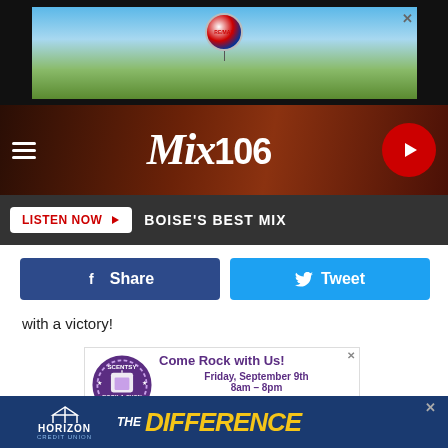[Figure (photo): RE/MAX hot air balloon advertisement banner at top of page]
[Figure (logo): Mix 106 radio station logo with hamburger menu and play button in dark brown navigation bar]
LISTEN NOW  BOISE'S BEST MIX
[Figure (other): Facebook Share and Twitter Tweet social media buttons]
with a victory!
[Figure (photo): Scentsy Rock-A-Thon advertisement: Come Rock with Us! Friday, September 9th 8am - 8pm, showing people sitting in rocking chairs outdoors]
[Figure (other): Horizon Credit Union - THE DIFFERENCE advertisement banner at bottom]